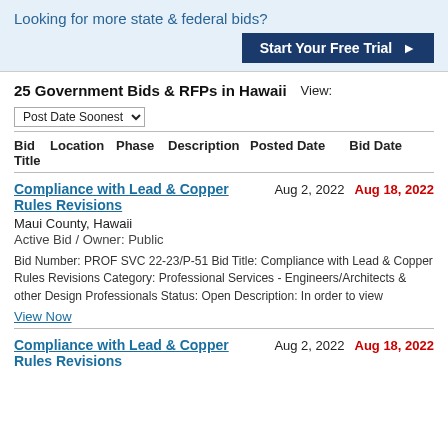Looking for more state & federal bids?
Start Your Free Trial ▶
25 Government Bids & RFPs in Hawaii View: Post Date Soonest
| Bid Title | Location | Phase | Description | Posted Date | Bid Date |
| --- | --- | --- | --- | --- | --- |
| Compliance with Lead & Copper Rules Revisions | Maui County, Hawaii | Active Bid / Owner: Public | Bid Number: PROF SVC 22-23/P-51 Bid Title: Compliance with Lead & Copper Rules Revisions Category: Professional Services - Engineers/Architects & other Design Professionals Status: Open Description: In order to view | Aug 2, 2022 | Aug 18, 2022 |
| Compliance with Lead & Copper Rules Revisions |  |  |  | Aug 2, 2022 | Aug 18, 2022 |
View Now